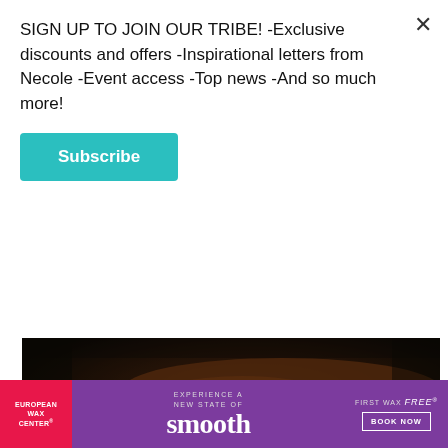SIGN UP TO JOIN OUR TRIBE! -Exclusive discounts and offers -Inspirational letters from Necole -Event access -Top news -And so much more!
Subscribe
[Figure (photo): Close-up dark studio photo of a person's legs and feet with a small ring on a toe, against a dark background. A share icon button is visible in the bottom right corner.]
Genius
Everything Lizzo touches turns to gold. At least that's what you'd think after listening to her chart-
[Figure (photo): European Wax Center advertisement banner with purple background. Left red section shows 'EUROPEAN WAX CENTER' logo. Center text reads 'EXPERIENCE A NEW STATE OF smooth'. Right section shows 'FIRST WAX free BOOK NOW'.]